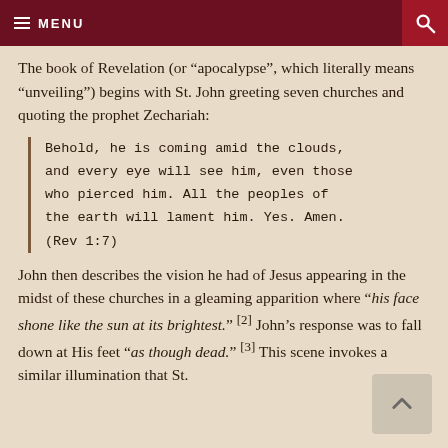MENU
The book of Revelation (or “apocalypse”, which literally means “unveiling”) begins with St. John greeting seven churches and quoting the prophet Zechariah:
Behold, he is coming amid the clouds, and every eye will see him, even those who pierced him. All the peoples of the earth will lament him. Yes. Amen. (Rev 1:7)
John then describes the vision he had of Jesus appearing in the midst of these churches in a gleaming apparition where “his face shone like the sun at its brightest.” [2] John’s response was to fall down at His feet “as though dead.” [3] This scene invokes a similar illumination that St.